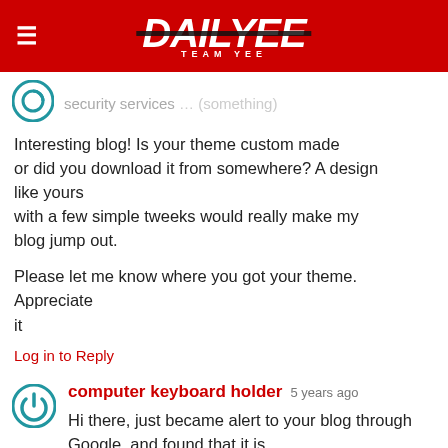DAILYEE TEAM YEE
security services … (truncated)
Interesting blog! Is your theme custom made or did you download it from somewhere? A design like yours
with a few simple tweeks would really make my blog jump out.

Please let me know where you got your theme. Appreciate
it

Log in to Reply
computer keyboard holder  5 years ago

Hi there, just became alert to your blog through Google, and found that it is
really informative. I'm gonna watch out for brussels.